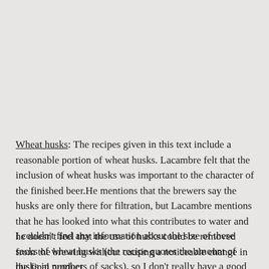Wheat husks: The recipes given in this text include a reasonable portion of wheat husks. Lacambre felt that the inclusion of wheat husks was important to the character of the finished beer.He mentions that the brewers say the husks are only there for filtration, but Lacambre mentions that he has looked into what this contributes to water and he doesn't feel that the use of husks could be removed from the brewing without causing a noticeable change in the final product.
I couldn't find any information about the size of these sacks of wheat husks (the recipe quotes the amount of husks in numbers of sacks), so I don't really have a good idea what sort of g/L their